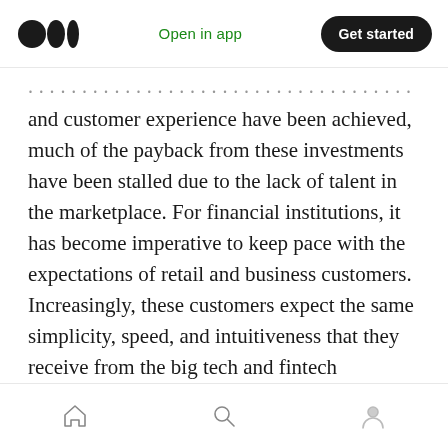Open in app  Get started
...advances for data growth, cost cutting, and customer experience have been achieved, much of the payback from these investments have been stalled due to the lack of talent in the marketplace. For financial institutions, it has become imperative to keep pace with the expectations of retail and business customers. Increasingly, these customers expect the same simplicity, speed, and intuitiveness that they receive from the big tech and fintech companies.
Meeting these expectations requires the collaboration of humans and modern technology.
Home  Search  Profile